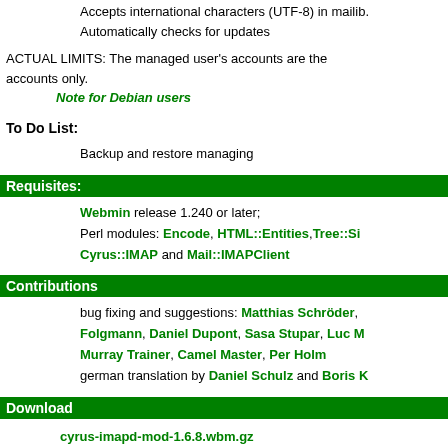Accepts international characters (UTF-8) in mailib. Automatically checks for updates
ACTUAL LIMITS: The managed user's accounts are the accounts only.
    Note for Debian users
To Do List:
Backup and restore managing
Requisites:
Webmin release 1.240 or later;
Perl modules: Encode, HTML::Entities, Tree::Si
Cyrus::IMAP and Mail::IMAPClient
Contributions
bug fixing and suggestions: Matthias Schröder, Folgmann, Daniel Dupont, Sasa Stupar, Luc M, Murray Trainer, Camel Master, Per Holm
german translation by Daniel Schulz and Boris K
Download
cyrus-imapd-mod-1.6.8.wbm.gz
This module is GPL released.
Forum